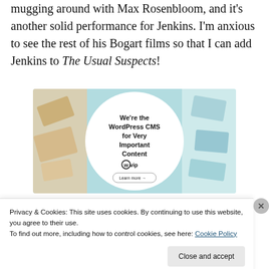mugging around with Max Rosenbloom, and it's another solid performance for Jenkins. I'm anxious to see the rest of his Bogart films so that I can add Jenkins to The Usual Suspects!
[Figure (screenshot): WordPress VIP advertisement showing 'We're the WordPress CMS for Very Important Content' with a Learn more button, on a colorful background with various document/media tiles]
Privacy & Cookies: This site uses cookies. By continuing to use this website, you agree to their use.
To find out more, including how to control cookies, see here: Cookie Policy